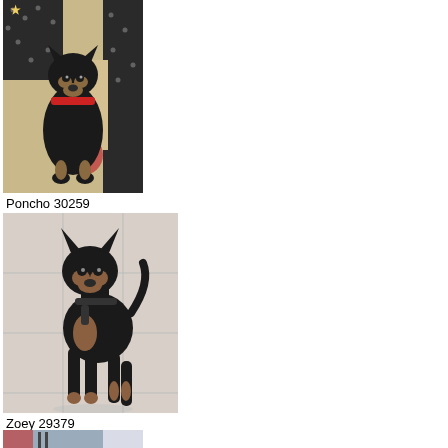[Figure (photo): Black and tan small dog (Miniature Pinscher or similar) sitting on a patterned black and white quilt/blanket, wearing a red collar. Dog name: Poncho, ID: 30259.]
Poncho 30259
[Figure (photo): Black and tan Miniature Pinscher standing on a light tile floor, wearing a black harness, looking at the camera. Dog name: Zoey, ID: 29379.]
Zoey 29379
[Figure (photo): Partial view of another dog photo at the bottom of the page, cut off.]